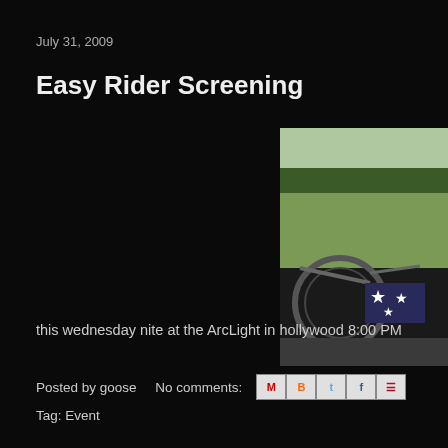July 31, 2009
Easy Rider Screening
[Figure (photo): Partial view of Easy Rider movie image showing a motorcycle with American flag pattern and rural landscape in background, cut off at the right edge of the page]
this wednesday nite at the ArcLight in hollywood 8:00 PM
Posted by goose    No comments:
Tag: Event